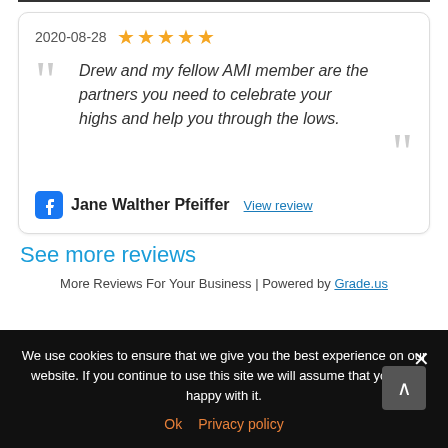2020-08-28 ★★★★★
Drew and my fellow AMI member are the partners you need to celebrate your highs and help you through the lows.
Jane Walther Pfeiffer View review
See more reviews
More Reviews For Your Business | Powered by Grade.us
We use cookies to ensure that we give you the best experience on our website. If you continue to use this site we will assume that you are happy with it. Ok Privacy policy